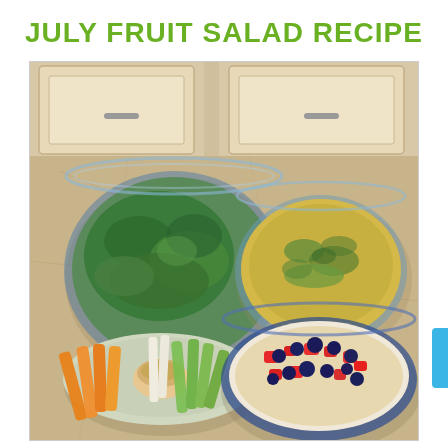JULY FRUIT SALAD RECIPE
[Figure (photo): Kitchen countertop scene showing four dishes: a large glass bowl of fresh spinach leaves, a glass baking dish with a green egg casserole, a round plate with carrot and celery sticks arranged around a cup of hummus, and a glass bowl with a fruit salad of strawberries, blueberries, and quinoa. Granite countertop and white kitchen cabinets visible in background.]